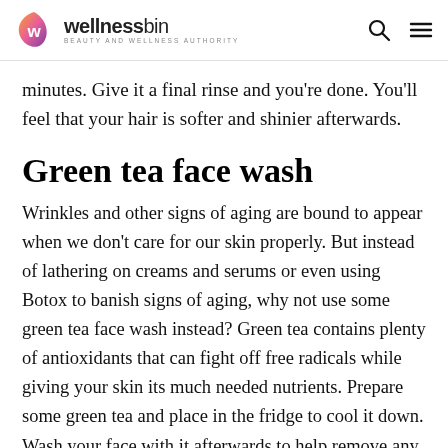wellnessbin — BEAUTY AND WELLNESS AUTHORITY
minutes. Give it a final rinse and you're done. You'll feel that your hair is softer and shinier afterwards.
Green tea face wash
Wrinkles and other signs of aging are bound to appear when we don't care for our skin properly. But instead of lathering on creams and serums or even using Botox to banish signs of aging, why not use some green tea face wash instead? Green tea contains plenty of antioxidants that can fight off free radicals while giving your skin its much needed nutrients. Prepare some green tea and place in the fridge to cool it down. Wash your face with it afterwards to help remove any impurities.